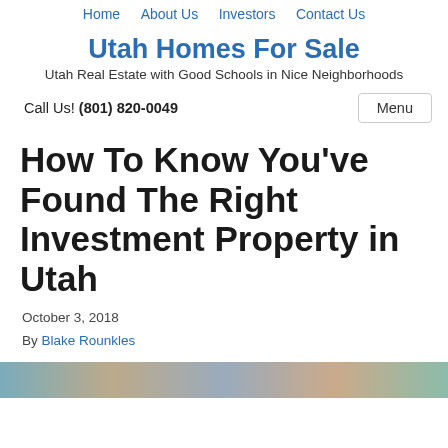Home  About Us  Investors  Contact Us
Utah Homes For Sale
Utah Real Estate with Good Schools in Nice Neighborhoods
Call Us! (801) 820-0049
How To Know You've Found The Right Investment Property in Utah
October 3, 2018
By Blake Rounkles
[Figure (photo): Partial image strip at bottom of page, appears to show real estate or neighborhood photography]